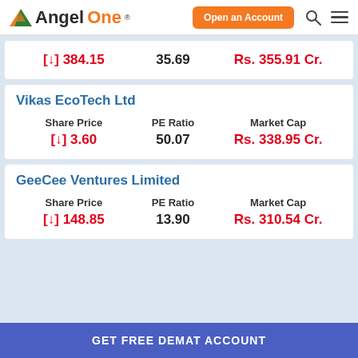AngelOne — Open an Account
| Share Price | PE Ratio | Market Cap |
| --- | --- | --- |
| [↓] 384.15 | 35.69 | Rs. 355.91 Cr. |
Vikas EcoTech Ltd
| Share Price | PE Ratio | Market Cap |
| --- | --- | --- |
| [↓] 3.60 | 50.07 | Rs. 338.95 Cr. |
GeeCee Ventures Limited
| Share Price | PE Ratio | Market Cap |
| --- | --- | --- |
| [↓] 148.85 | 13.90 | Rs. 310.54 Cr. |
GET FREE DEMAT ACCOUNT